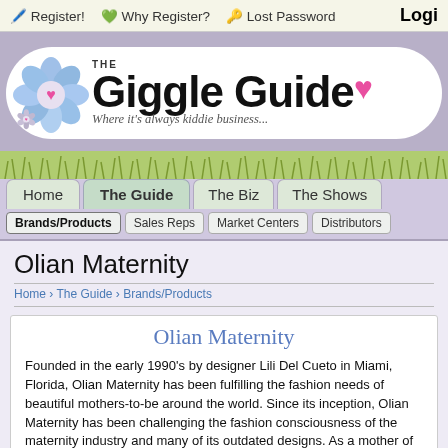Register! | Why Register? | Lost Password | Login
[Figure (logo): The Giggle Guide logo with flower icon and tagline 'Where it's always kiddie business...']
Home | The Guide | The Biz | The Shows
Brands/Products | Sales Reps | Market Centers | Distributors
Olian Maternity
Home › The Guide › Brands/Products
Olian Maternity
Founded in the early 1990's by designer Lili Del Cueto in Miami, Florida, Olian Maternity has been fulfilling the fashion needs of beautiful mothers-to-be around the world. Since its inception, Olian Maternity has been challenging the fashion consciousness of the maternity industry and many of its outdated designs. As a mother of three, Lili has continuously...